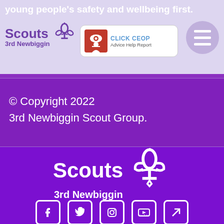young people's safety and wellbeing first.
[Figure (logo): Scouts 3rd Newbiggin logo with fleur-de-lis symbol]
[Figure (other): Hamburger menu button (three horizontal lines in a circle)]
[Figure (other): CLICK CEOP badge - Advice Help Report]
© Copyright 2022
3rd Newbiggin Scout Group.
[Figure (logo): Scouts 3rd Newbiggin logo large white on purple background with fleur-de-lis]
[Figure (other): Social media icons: Facebook, Twitter, Instagram, YouTube, external link]